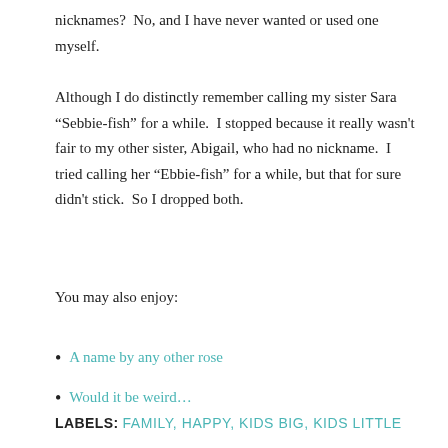nicknames?  No, and I have never wanted or used one myself.
Although I do distinctly remember calling my sister Sara “Sebbie-fish” for a while.  I stopped because it really wasn't fair to my other sister, Abigail, who had no nickname.  I tried calling her “Ebbie-fish” for a while, but that for sure didn't stick.  So I dropped both.
You may also enjoy:
A name by any other rose
Would it be weird…
LABELS: FAMILY, HAPPY, KIDS BIG, KIDS LITTLE